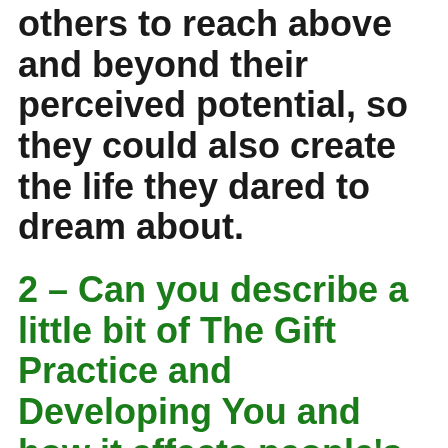others to reach above and beyond their perceived potential, so they could also create the life they dared to dream about.
2 – Can you describe a little bit of The Gift Practice and Developing You and how it affects people's lives?
We are literally living our life out of habit, and to make a…